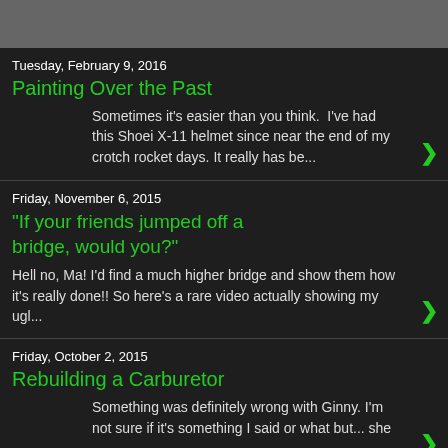Tuesday, February 9, 2016
Painting Over the Past
Sometimes it's easier than you think.  I've had this Shoei X-11 helmet since near the end of my crotch rocket days. It really has be...
Friday, November 6, 2015
"If your friends jumped off a bridge, would you?"
Hell no, Ma! I'd find a much higher bridge and show them how it's really done!! So here's a rare video actually showing my ugl...
Friday, October 2, 2015
Rebuilding a Carburetor
Something was definitely wrong with Ginny. I'm not sure if it's something I said or what but... she